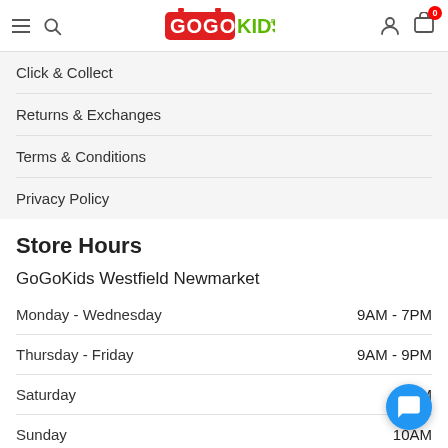GoGoKids header with navigation and cart
Click & Collect
Returns & Exchanges
Terms & Conditions
Privacy Policy
Store Hours
GoGoKids Westfield Newmarket
| Day | Hours |
| --- | --- |
| Monday - Wednesday | 9AM - 7PM |
| Thursday - Friday | 9AM - 9PM |
| Saturday | 9AM -  |
| Sunday | 10AM -  |
| Public Holiday | Open |